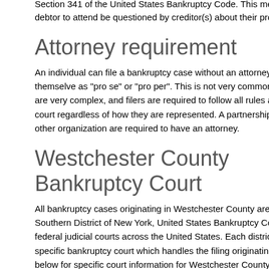Section 341 of the United States Bankruptcy Code. This meeting requires the debtor to attend be questioned by creditor(s) about their property a...
Attorney requirement
An individual can file a bankruptcy case without an attorney and represent themselve as "pro se" or "pro per". This is not very common as bankruptcy cases are very complex, and filers are required to follow all rules and procedures of the court regardless of how they are represented. A partnership, corporation or other organization are required to have an attorney.
Westchester County Bankruptcy Court
All bankruptcy cases originating in Westchester County are filed and heard by the Southern District of New York, United States Bankruptcy Court. There are 94 federal judicial courts across the United States. Each district court has a specific bankruptcy court which handles the filing originating in its jurisdiction. See below for specific court information for Westchester County.
Chapter 7 vs. Chapter 13 bankruptcy
Chapter 7 bankruptcy takes all of the debtor's assets (that are not exempt), dissolves them and apportions the monies to the debtor's unsecured creditors. It is the simplest and fastest form of bankruptcy. A 2005 change in ba...